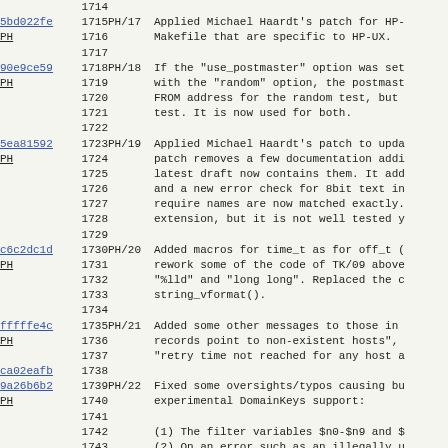| Hash | Line | Tag | Message |
| --- | --- | --- | --- |
|  | 1714 |  |  |
| 5bd022fe
PH | 1715
1716
1717 | PH/17 | Applied Michael Haardt's patch for HP-
Makefile that are specific to HP-UX. |
| 90e9ce59
PH | 1718
1719
1720
1721
1722 | PH/18 | If the "use_postmaster" option was set
with the "random" option, the postmast
FROM address for the random test, but
test. It is now used for both. |
| 5ea81592
PH | 1723
1724
1725
1726
1727
1728
1729 | PH/19 | Applied Michael Haardt's patch to upda
patch removes a few documentation addi
latest draft now contains them. It add
and a new error check for 8bit text in
require names are now matched exactly.
extension, but it is not well tested y |
| c6c2dc1d
PH | 1730
1731
1732
1733
1734 | PH/20 | Added macros for time_t as for off_t (
rework some of the code of TK/09 above
"%lld" and "long long". Replaced the c
string_vformat(). |
| fffffe4c
PH | 1735
1736
1737 | PH/21 | Added some other messages to those in
records point to non-existent hosts",
"retry time not reached for any host a |
| ca02eafb
9a26b6b2
PH | 1738
1739
1740
1741
1742
1743
1744
1745
1746 | PH/22 | Fixed some oversights/typos causing bu
experimental DomainKeys support:

(1) The filter variables $n0-$n9 and $
(2) On an error such as an illegally u
    the control was given.

Those problems did NOT occur unless Do |